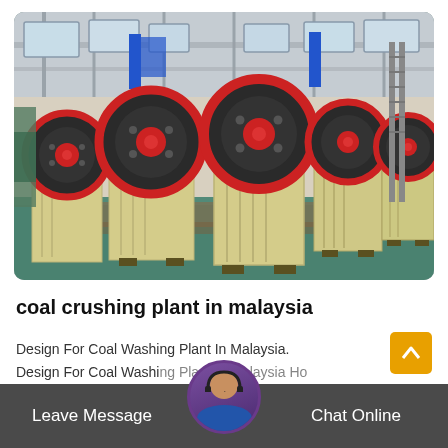[Figure (photo): Industrial warehouse interior showing multiple yellow jaw crusher machines with large black and red flywheels arranged in a row on a green floor, with metal roof structure visible above]
coal crushing plant in malaysia
Design For Coal Washing Plant In Malaysia. Design For Coal Washing Plant In Malaysia Ho
Leave Message  Chat Online